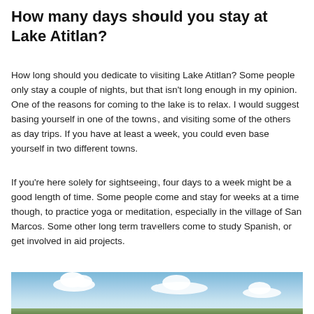How many days should you stay at Lake Atitlan?
How long should you dedicate to visiting Lake Atitlan? Some people only stay a couple of nights, but that isn't long enough in my opinion. One of the reasons for coming to the lake is to relax. I would suggest basing yourself in one of the towns, and visiting some of the others as day trips. If you have at least a week, you could even base yourself in two different towns.
If you're here solely for sightseeing, four days to a week might be a good length of time. Some people come and stay for weeks at a time though, to practice yoga or meditation, especially in the village of San Marcos. Some other long term travellers come to study Spanish, or get involved in aid projects.
[Figure (photo): Blue sky with white clouds, partial view of landscape at bottom]